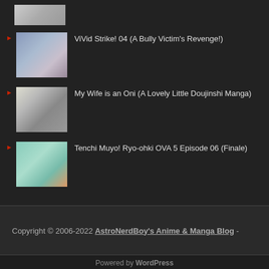[Figure (photo): Partial anime thumbnail at top, cropped]
ViVid Strike! 04 (A Bully Victim's Revenge!)
My Wife is an Oni (A Lovely Little Doujinshi Manga)
Tenchi Muyo! Ryo-ohki OVA 5 Episode 06 (Finale)
Copyright © 2006-2022 AstroNerdBoy's Anime & Manga Blog -
Powered by WordPress